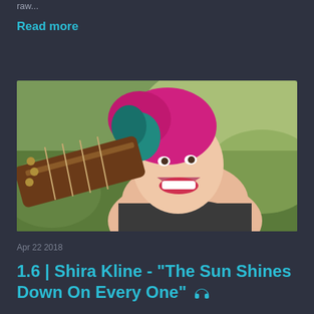raw...
Read more
[Figure (photo): A woman with bright pink and teal hair smiling and holding a guitar neck over her shoulder, outdoors with blurred green background.]
Apr 22 2018
1.6 | Shira Kline - "The Sun Shines Down On Every One" 🎧